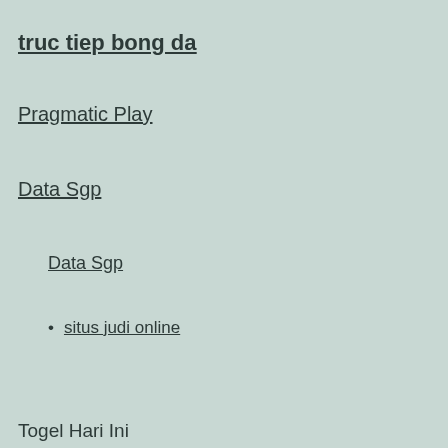truc tiep bong da
Pragmatic Play
Data Sgp
Data Sgp
situs judi online
Togel Hari Ini